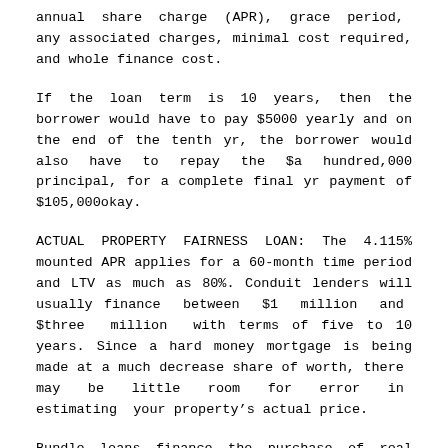annual share charge (APR), grace period, any associated charges, minimal cost required, and whole finance cost.
If the loan term is 10 years, then the borrower would have to pay $5000 yearly and on the end of the tenth yr, the borrower would also have to repay the $a hundred,000 principal, for a complete final yr payment of $105,000okay.
ACTUAL PROPERTY FAIRNESS LOAN: The 4.115% mounted APR applies for a 60-month time period and LTV as much as 80%. Conduit lenders will usually finance between $1 million and $three million with terms of five to 10 years. Since a hard money mortgage is being made at a much decrease share of worth, there may be little room for error in estimating your property’s actual price.
Bundle loans finance the purchase of real estate and private property, akin to a furnished condominium or condominium. This is one reason the borrowed